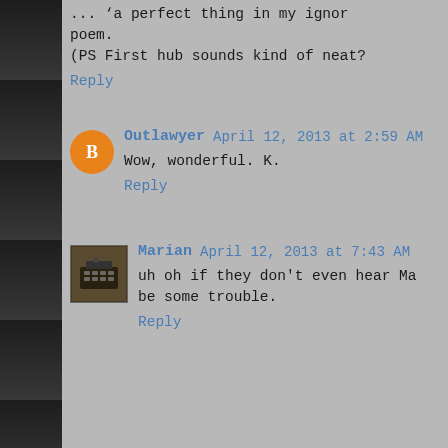... 'a perfect thing in my ignor... poem.
(PS First hub sounds kind of neat?
Reply
Outlawyer April 12, 2013 at 2:59 AM
Wow, wonderful. K.
Reply
Marian April 12, 2013 at 7:43 AM
uh oh if they don't even hear Ma... be some trouble.
Reply